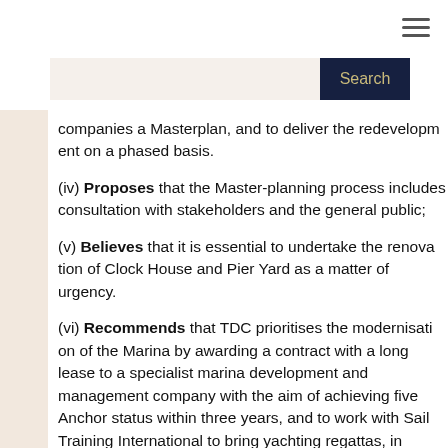[Figure (other): Hamburger menu icon (three horizontal lines) in top right corner]
[Figure (other): Search bar with text input field and dark navy Search button]
companies a Masterplan, and to deliver the redevelopment on a phased basis.
(iv) Proposes that the Master-planning process includes consultation with stakeholders and the general public;
(v) Believes that it is essential to undertake the renovation of Clock House and Pier Yard as a matter of urgency.
(vi) Recommends that TDC prioritises the modernisation of the Marina by awarding a contract with a long lease to a specialist marina development and management company with the aim of achieving five Anchor status within three years, and to work with Sail Training International to bring yachting regattas, including Tall Ships regattas, to the Royal Harbour.
(vii) Concludes that the era of cross-Channel ferries